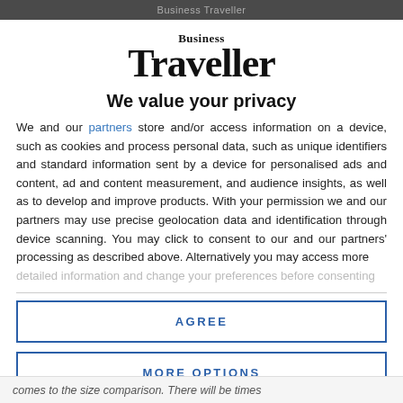Business Traveller
[Figure (logo): Business Traveller magazine logo with 'Business' in small text above large 'Traveller' in bold serif font]
We value your privacy
We and our partners store and/or access information on a device, such as cookies and process personal data, such as unique identifiers and standard information sent by a device for personalised ads and content, ad and content measurement, and audience insights, as well as to develop and improve products. With your permission we and our partners may use precise geolocation data and identification through device scanning. You may click to consent to our and our partners' processing as described above. Alternatively you may access more
AGREE
MORE OPTIONS
comes to the size comparison. There will be times